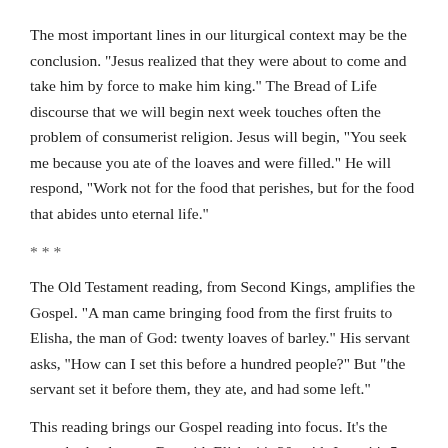The most important lines in our liturgical context may be the conclusion.  "Jesus realized that they were about to come and take him by force to make him king."  The Bread of Life discourse that we will begin next week touches often the problem of consumerist religion.  Jesus will begin, "You seek me because you ate of the loaves and were filled."  He will respond, "Work not for the food that perishes, but for the food that abides unto eternal life."
***
The Old Testament reading, from Second Kings, amplifies the Gospel.  "A man came bringing food from the first fruits to Elisha, the man of God: twenty loaves of barley."  His servant asks, "How can I set this before a hundred people?"  But "the servant set it before them, they ate, and had some left."
This reading brings our Gospel reading into focus.  It's the same barley loaves.  But with Elisha it's 20, with Jesus it's 5.  And Elisha miraculously feeds 100, Jesus feeds 5,000.